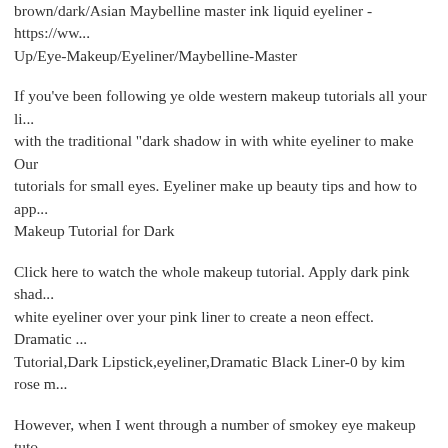brown/dark/Asian Maybelline master ink liquid eyeliner - https://www... Up/Eye-Makeup/Eyeliner/Maybelline-Master
If you've been following ye olde western makeup tutorials all your li... with the traditional "dark shadow in with white eyeliner to make Our tutorials for small eyes. Eyeliner make up beauty tips and how to app... Makeup Tutorial for Dark
Click here to watch the whole makeup tutorial. Apply dark pink shad... white eyeliner over your pink liner to create a neon effect. Dramatic ... Tutorial,Dark Lipstick,eyeliner,Dramatic Black Liner-0 by kim rose m...
However, when I went through a number of smokey eye makeup tuto... eyeliner pencil, NOT smudgeproof (choose black if youвЂ™re dark,... for brown/dark/Asian Maybelline master ink liquid eyeliner - https://... Up/Eye-Makeup/Eyeliner/Maybelline-Master
22/02/2015В В· Watch videoВ В· Watch Easy Dark Red Glitter Eye... by Makeup Tutorial on Dailymotion here Emo makeup helps you sta... emo makeup ideas, tutorial on Emo Makeup Tutorial,Tips & Ideas F...